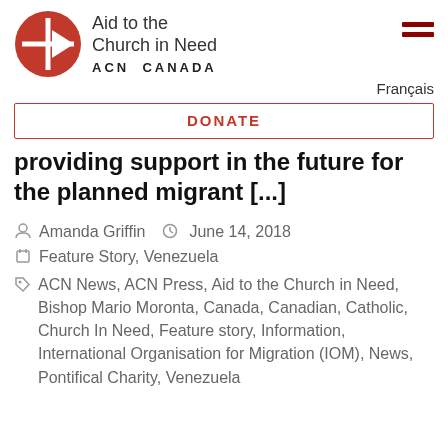Aid to the Church in Need ACN CANADA
Français
DONATE
providing support in the future for the planned migrant [...]
Amanda Griffin   June 14, 2018
Feature Story, Venezuela
ACN News, ACN Press, Aid to the Church in Need, Bishop Mario Moronta, Canada, Canadian, Catholic, Church In Need, Feature story, Information, International Organisation for Migration (IOM), News, Pontifical Charity, Venezuela